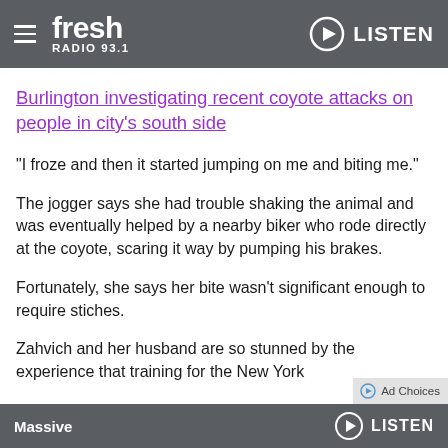Fresh Radio 93.1 — LISTEN
Burlington investigating recent coyote attacks on people in city's south side
“I froze and then it started jumping on me and biting me.”
The jogger says she had trouble shaking the animal and was eventually helped by a nearby biker who rode directly at the coyote, scaring it way by pumping his brakes.
Fortunately, she says her bite wasn’t significant enough to require stiches.
Zahvich and her husband are so stunned by the experience that training for the New York
Massive — LISTEN